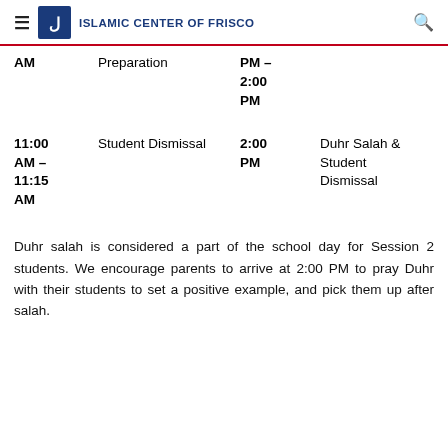ISLAMIC CENTER OF FRISCO
| Time (AM) | Activity | Time (PM) | Activity |
| --- | --- | --- | --- |
| AM | Preparation | PM – 2:00 PM |  |
| 11:00 AM – 11:15 AM | Student Dismissal | 2:00 PM | Duhr Salah & Student Dismissal |
Duhr salah is considered a part of the school day for Session 2 students. We encourage parents to arrive at 2:00 PM to pray Duhr with their students to set a positive example, and pick them up after salah.